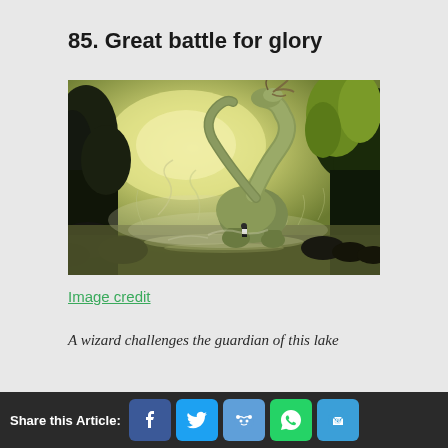85. Great battle for glory
[Figure (illustration): Fantasy digital painting of a giant serpentine dragon-like creature with a long neck rearing up in a misty forest lake, facing a small armored wizard/warrior figure standing at the water's edge. The scene features lush green trees, golden-yellow glowing sky, swirling mists, and dark rocky terrain.]
Image credit
A wizard challenges the guardian of this lake
Share this Article: